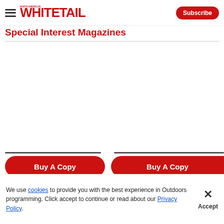North American Whitetail — Subscribe
Special Interest Magazines
[Figure (other): Empty white content area with product images not loaded]
Buy A Copy
Buy A Copy
[Figure (other): Old Trapper advertisement banner with FU text and Advertisement label, with close button]
We use cookies to provide you with the best experience in Outdoors programming. Click accept to continue or read about our Privacy Policy.